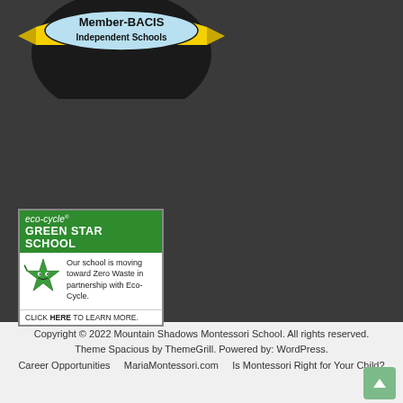[Figure (logo): Member-BACIS Independent Schools badge/seal with yellow ribbon banner on dark circular background]
[Figure (infographic): Eco-Cycle Green Star School badge showing a green star character with text: Our school is moving toward Zero Waste in partnership with Eco-Cycle. CLICK HERE TO LEARN MORE.]
Copyright © 2022 Mountain Shadows Montessori School. All rights reserved. Theme Spacious by ThemeGrill. Powered by: WordPress.
Career Opportunities   MariaMontessori.com   Is Montessori Right for Your Child?